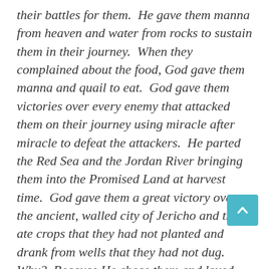their battles for them.  He gave them manna from heaven and water from rocks to sustain them in their journey.  When they complained about the food, God gave them manna and quail to eat.  God gave them victories over every enemy that attacked them on their journey using miracle after miracle to defeat the attackers.  He parted the Red Sea and the Jordan River bringing them into the Promised Land at harvest time.  God gave them a great victory over the ancient, walled city of Jericho and they ate crops that they had not planted and drank from wells that they had not dug.  Why?  Because He chose them and loved them.  Why does He give us spiritual food and water in a spiritually dry and barren land?  For the same reason.  He has chosen us and He loves us.  They were to bear His standard and carry His name throughout the known